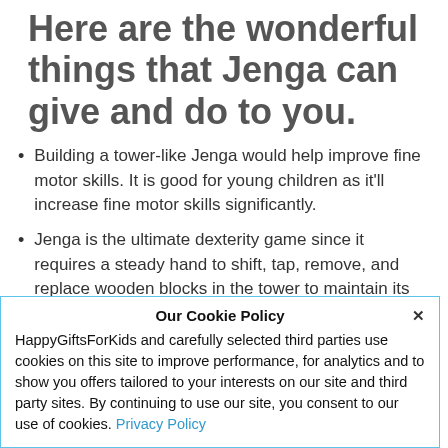Here are the wonderful things that Jenga can give and do to you.
Building a tower-like Jenga would help improve fine motor skills. It is good for young children as it'll increase fine motor skills significantly.
Jenga is the ultimate dexterity game since it requires a steady hand to shift, tap, remove, and replace wooden blocks in the tower to maintain its structural integrity. Jenga is great for adults as
Our Cookie Policy
HappyGiftsForKids and carefully selected third parties use cookies on this site to improve performance, for analytics and to show you offers tailored to your interests on our site and third party sites. By continuing to use our site, you consent to our use of cookies. Privacy Policy